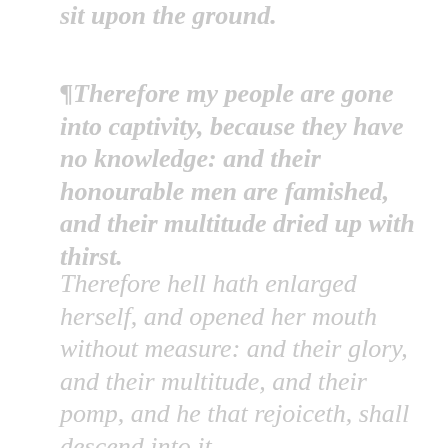sit upon the ground.
¶Therefore my people are gone into captivity, because they have no knowledge: and their honourable men are famished, and their multitude dried up with thirst.
Therefore hell hath enlarged herself, and opened her mouth without measure: and their glory, and their multitude, and their pomp, and he that rejoiceth, shall descend into it.